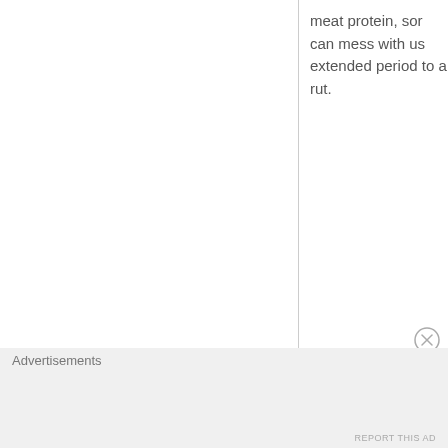meat protein, sor can mess with us extended period to a rut.
Advertisements
REPORT THIS AD